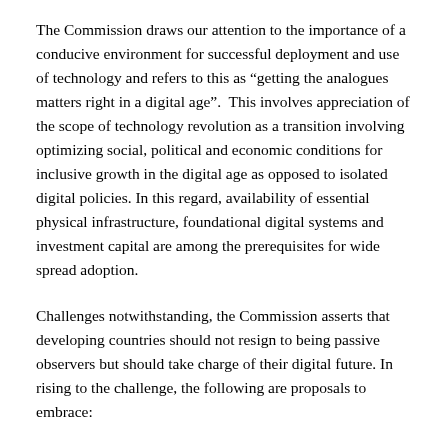The Commission draws our attention to the importance of a conducive environment for successful deployment and use of technology and refers to this as “getting the analogues matters right in a digital age”.  This involves appreciation of the scope of technology revolution as a transition involving optimizing social, political and economic conditions for inclusive growth in the digital age as opposed to isolated digital policies. In this regard, availability of essential physical infrastructure, foundational digital systems and investment capital are among the prerequisites for wide spread adoption.
Challenges notwithstanding, the Commission asserts that developing countries should not resign to being passive observers but should take charge of their digital future. In rising to the challenge, the following are proposals to embrace: